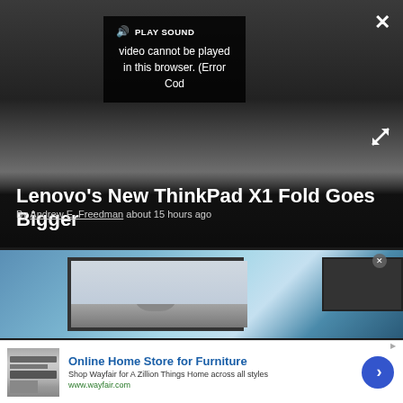[Figure (screenshot): Video player showing error overlay: speaker icon, PLAY SOUND label, error message 'Video cannot be played in this browser. (Error Cod' — on dark background with close X and expand icons]
Lenovo's New ThinkPad X1 Fold Goes Bigger
By Andrew E. Freedman about 15 hours ago
[Figure (screenshot): TV screen showing a seal resting on rocks, displayed on a monitor with blue ocean/ice background]
Online Home Store for Furniture
Shop Wayfair for A Zillion Things Home across all styles
www.wayfair.com